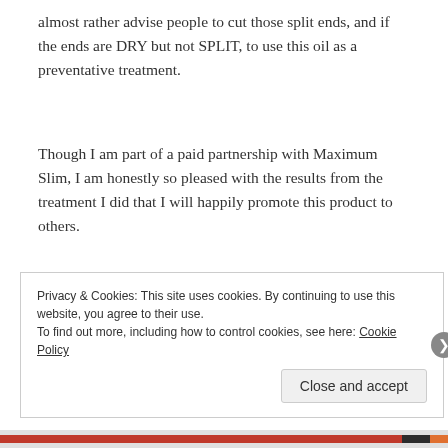almost rather advise people to cut those split ends, and if the ends are DRY but not SPLIT, to use this oil as a preventative treatment.
Though I am part of a paid partnership with Maximum Slim, I am honestly so pleased with the results from the treatment I did that I will happily promote this product to others.
Privacy & Cookies: This site uses cookies. By continuing to use this website, you agree to their use.
To find out more, including how to control cookies, see here: Cookie Policy